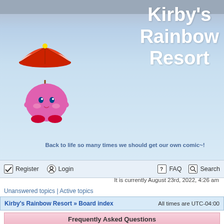Kirby's Rainbow Resort
Back to life so many times we should get our own comic~!
[Figure (illustration): Pixel art of Kirby character holding a parasol umbrella]
Register | Login | FAQ | Search
It is currently August 23rd, 2022, 4:26 am
Unanswered topics | Active topics
Kirby's Rainbow Resort » Board index    All times are UTC-04:00
Frequently Asked Questions
Login and Registration Issues
Why do I need to register?
What is COPPA?
Why can't I register?
I registered but cannot login!
Why can't I login?
I registered in the past but cannot login any more?!
I've lost my password!
Why do I get logged off automatically?
What does the "Delete cookies" do?